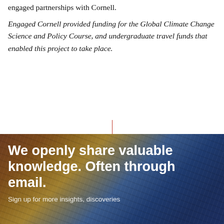engaged partnerships with Cornell.
Engaged Cornell provided funding for the Global Climate Change Science and Policy Course, and undergraduate travel funds that enabled this project to take place.
[Figure (photo): Close-up photo of woven or textile fabric showing warm brown/tan tones on the left and rich blue tones on the right, with a bold white text overlay reading 'We openly share valuable knowledge. Often through email.' and smaller white text below beginning 'Sign up for more insights, discoveries']
We openly share valuable knowledge. Often through email.
Sign up for more insights, discoveries